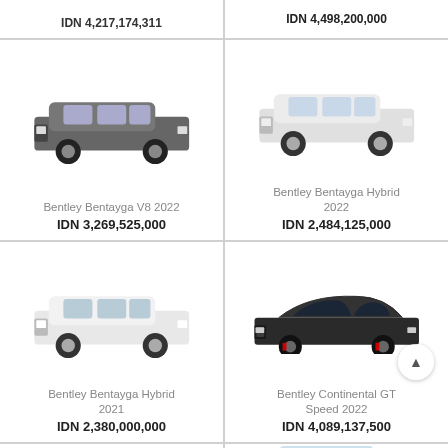IDN 4,498,200,000
[Figure (photo): Bentley Bentayga V8 2022 - dark grey SUV on white background]
Bentley Bentayga V8 2022
IDN 3,269,525,000
[Figure (photo): Bentley Bentayga Hybrid 2022 - white/silver SUV on white background]
Bentley Bentayga Hybrid 2022
IDN 2,484,125,000
[Figure (photo): Bentley Bentayga Hybrid 2021 - white/silver SUV on white background]
Bentley Bentayga Hybrid 2021
IDN 2,380,000,000
[Figure (photo): Bentley Continental GT Speed 2022 - dark black sports coupe on white background]
Bentley Continental GT Speed 2022
IDN 4,089,137,500
[Figure (photo): Bentley SUV - partial view at bottom right, light blue color]